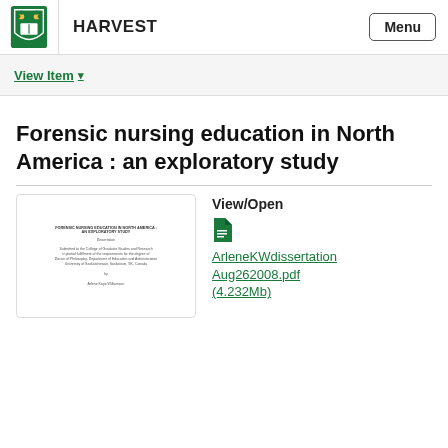HARVEST   Menu
View Item ▾
Forensic nursing education in North America : an exploratory study
[Figure (screenshot): Thumbnail preview of the dissertation document cover page]
View/Open
ArleneKWdissertationAug262008.pdf (4.232Mb)